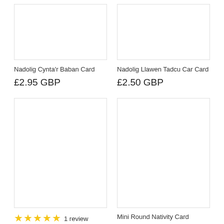[Figure (photo): Product image placeholder for Nadolig Cynta'r Baban Card]
[Figure (photo): Product image placeholder for Nadolig Llawen Tadcu Car Card]
Nadolig Cynta'r Baban Card
£2.95 GBP
Nadolig Llawen Tadcu Car Card
£2.50 GBP
[Figure (photo): Product image placeholder bottom left]
[Figure (photo): Product image placeholder bottom right]
1 review
Mini Round Nativity Card